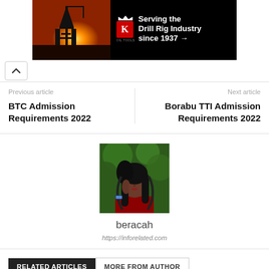[Figure (photo): King Oil Tools advertisement banner: drill rig at sunset on left, red K logo with crown and white text 'Serving the Drill Rig Industry since 1937 →' on black background]
Previous article
BTC Admission Requirements 2022
Next article
Borabu TTI Admission Requirements 2022
[Figure (photo): Profile photo of author 'beracah': young woman with long dark hair wearing red, posed against green foliage background]
beracah
https://inforelated.com
RELATED ARTICLES
MORE FROM AUTHOR